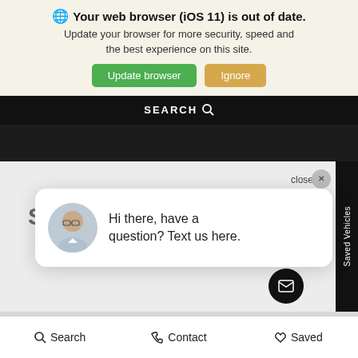[Figure (screenshot): Browser update banner with globe icon, bold title 'Your web browser (iOS 11) is out of date.', subtitle text, green Update browser button and tan Ignore button.]
[Figure (screenshot): Black navigation bar showing SEARCH with magnifying glass icon]
[Figure (screenshot): Dark hero image area with car in background]
[Figure (screenshot): Main page area with chat popup bubble showing avatar of a man with glasses and text 'Hi there, have a question? Text us here.' with close button and Saved Vehicles sidebar tab]
[Figure (screenshot): Partial view of a silver sedan car]
[Figure (screenshot): Bottom navigation bar with Search, Contact, and Saved icons]